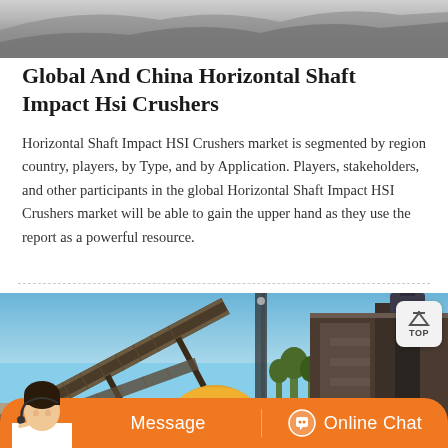[Figure (photo): Top portion of a crushed stone quarry or mountain landscape, grayscale/muted tones, partial view cropped at top of page]
Global And China Horizontal Shaft Impact Hsi Crushers
Horizontal Shaft Impact HSI Crushers market is segmented by region country, players, by Type, and by Application. Players, stakeholders, and other participants in the global Horizontal Shaft Impact HSI Crushers market will be able to gain the upper hand as they use the report as a powerful resource.
[Figure (photo): Industrial crushing plant with conveyor belts, large machinery structures, blue sky background. A customer service representative is shown at bottom left. An orange bar at bottom shows 'Message' and 'Online Chat' options with a TOP button in the upper right corner.]